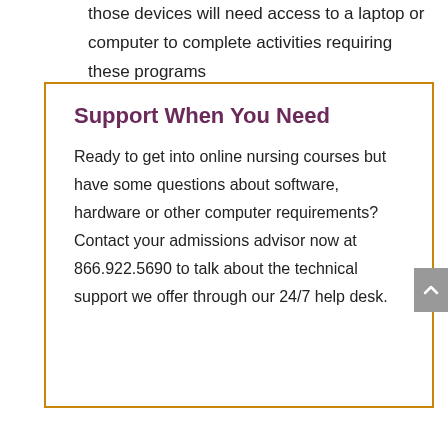those devices will need access to a laptop or computer to complete activities requiring these programs
Support When You Need
Ready to get into online nursing courses but have some questions about software, hardware or other computer requirements? Contact your admissions advisor now at 866.922.5690 to talk about the technical support we offer through our 24/7 help desk.